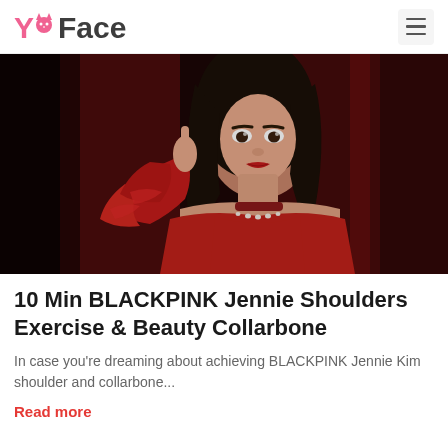YuFace
[Figure (photo): A woman in a red strapless dress with dramatic ruffled sleeve, raising one finger near her face, wearing a pearl choker necklace, performing on a stage with dark red background.]
10 Min BLACKPINK Jennie Shoulders Exercise & Beauty Collarbone
In case you're dreaming about achieving BLACKPINK Jennie Kim shoulder and collarbone...
Read more